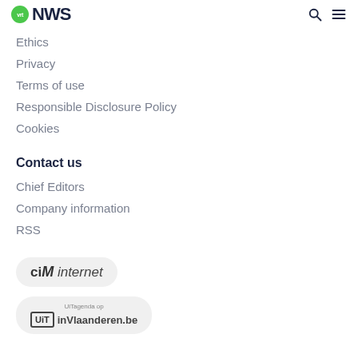VRT NWS
Ethics
Privacy
Terms of use
Responsible Disclosure Policy
Cookies
Contact us
Chief Editors
Company information
RSS
[Figure (logo): CIM internet logo badge with rounded rectangle background]
[Figure (logo): UiTagenda op inVlaanderen.be logo badge with rounded rectangle background]